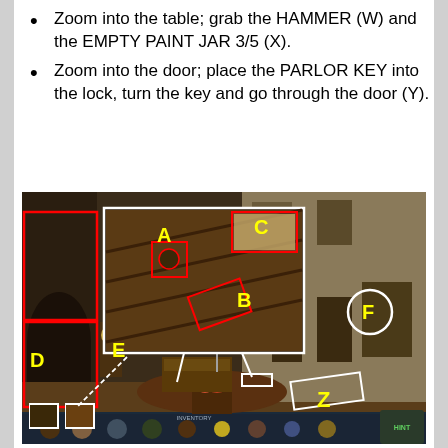Zoom into the table; grab the HAMMER (W) and the EMPTY PAINT JAR 3/5 (X).
Zoom into the door; place the PARLOR KEY into the lock, turn the key and go through the door (Y).
[Figure (screenshot): Game screenshot of a Victorian parlor scene with labeled items A, B, C, D, E, F, Z marked with yellow letters and red/white rectangles indicating interactive objects including a zoomed inset panel.]